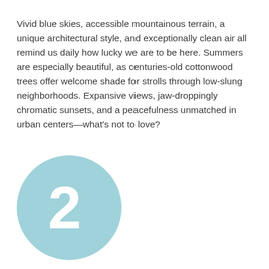Vivid blue skies, accessible mountainous terrain, a unique architectural style, and exceptionally clean air all remind us daily how lucky we are to be here. Summers are especially beautiful, as centuries-old cottonwood trees offer welcome shade for strolls through low-slung neighborhoods. Expansive views, jaw-droppingly chromatic sunsets, and a peacefulness unmatched in urban centers—what's not to love?
[Figure (other): A large light teal/blue circle containing a white numeral 2 in a bold serif-style font, positioned in the lower-left area of the page.]